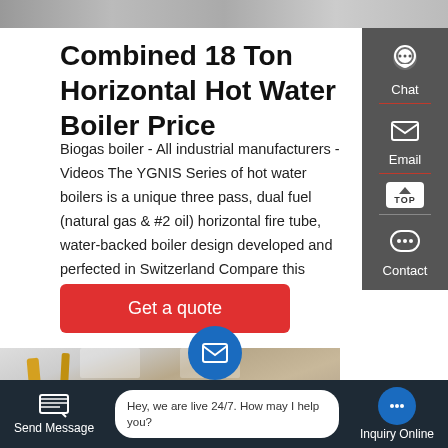[Figure (photo): Top strip image showing industrial or product scene]
Combined 18 Ton Horizontal Hot Water Boiler Price
Biogas boiler - All industrial manufacturers - Videos The YGNIS Series of hot water boilers is a unique three pass, dual fuel (natural gas & #2 oil) horizontal fire tube, water-backed boiler design developed and perfected in Switzerland Compare this product Remove
[Figure (screenshot): Get a quote button - red rectangular button with white text]
[Figure (screenshot): Right sidebar with Chat, Email, TOP, and Contact icons on dark grey background]
[Figure (photo): Bottom photo of industrial interior space with yellow pipes and high ceiling]
[Figure (screenshot): Bottom navigation bar with Send Message, chat bubble, and Inquiry Online options]